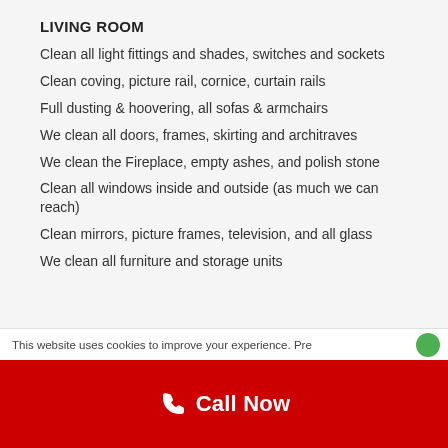LIVING ROOM
Clean all light fittings and shades, switches and sockets
Clean coving, picture rail, cornice, curtain rails
Full dusting & hoovering, all sofas & armchairs
We clean all doors, frames, skirting and architraves
We clean the Fireplace, empty ashes, and polish stone
Clean all windows inside and outside (as much we can reach)
Clean mirrors, picture frames, television, and all glass
We clean all furniture and storage units
This website uses cookies to improve your experience. Pre
Call Now